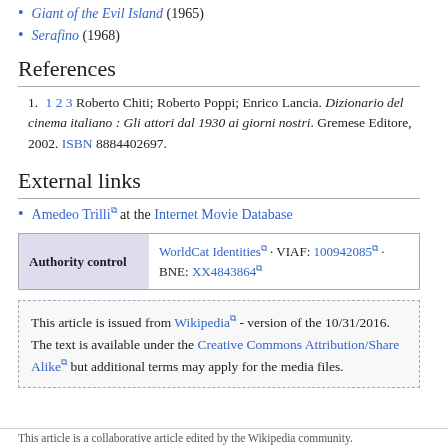Giant of the Evil Island (1965)
Serafino (1968)
References
1. 1 2 3 Roberto Chiti; Roberto Poppi; Enrico Lancia. Dizionario del cinema italiano : Gli attori dal 1930 ai giorni nostri. Gremese Editore, 2002. ISBN 8884402697.
External links
Amedeo Trilli at the Internet Movie Database
| Authority control | Links |
| --- | --- |
| Authority control | WorldCat Identities · VIAF: 100942085 · BNE: XX4843864 |
This article is issued from Wikipedia - version of the 10/31/2016. The text is available under the Creative Commons Attribution/Share Alike but additional terms may apply for the media files.
This article is a collaborative article edited by the Wikipedia community.